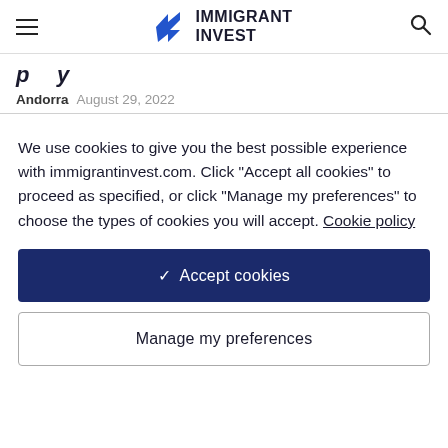IMMIGRANT INVEST
p   y
Andorra  August 29, 2022
We use cookies to give you the best possible experience with immigrantinvest.com. Click "Accept all cookies" to proceed as specified, or click "Manage my preferences" to choose the types of cookies you will accept. Cookie policy
✓  Accept cookies
Manage my preferences